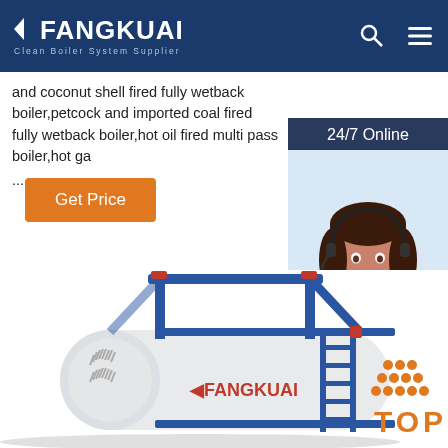FANGKUAI — Clean Boiler System Supplier
and coconut shell fired fully wetback boiler,petcock and imported coal fired fully wetback boiler,hot oil fired multi pass boiler,hot ga ...
Get Price
[Figure (photo): Customer service representative with headset, 24/7 Online sidebar widget with Click here for free chat and QUOTATION button]
[Figure (photo): Fangkuai industrial boiler unit, horizontal cylindrical white boiler with blue metal frame and ladder, FANGKUAI logo on side, TOP badge in lower right]